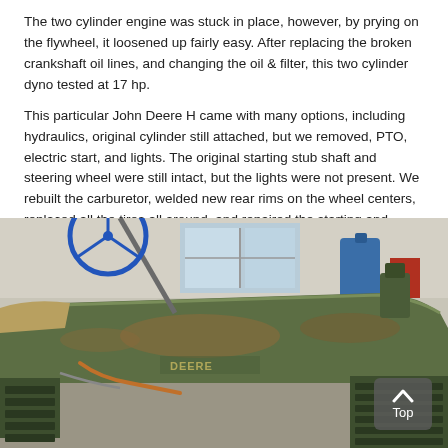The two cylinder engine was stuck in place, however, by prying on the flywheel, it loosened up fairly easy. After replacing the broken crankshaft oil lines, and changing the oil & filter, this two cylinder dyno tested at 17 hp.
This particular John Deere H came with many options, including hydraulics, original cylinder still attached, but we removed, PTO, electric start, and lights. The original starting stub shaft and steering wheel were still intact, but the lights were not present. We rebuilt the carburetor, welded new rear rims on the wheel centers, replaced all the tires all around, and repaired the starting and charging system.
[Figure (photo): Photograph of an old John Deere H tractor in a garage/workshop setting, showing the side profile of the engine hood and front grille, with a blue steering wheel visible. The tractor appears in weathered green paint with rust. A 'Top' navigation button is overlaid in the bottom-right corner of the image.]